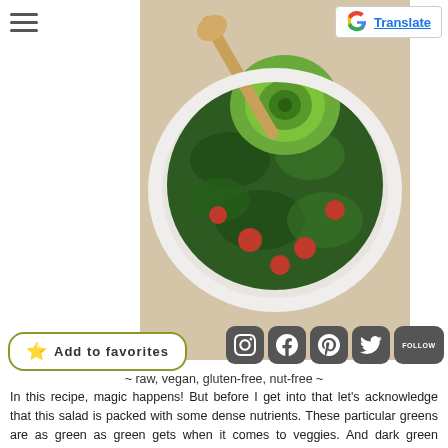hamburger menu | Google Translate button
[Figure (photo): Overhead view of a kale salad in a white bowl with a spiraled avocado rose on top, cherry tomatoes, and a wooden spoon, on a woven mat background.]
⭐ Add to favorites
Instagram | Facebook | Pinterest | Twitter | FOLLOW
~ raw, vegan, gluten-free, nut-free ~
In this recipe, magic happens!  But before I get into that let's acknowledge that this salad is packed with some dense nutrients.  These particular greens are as green as green gets when it comes to veggies.  And dark green veggies are packed full of goodness.